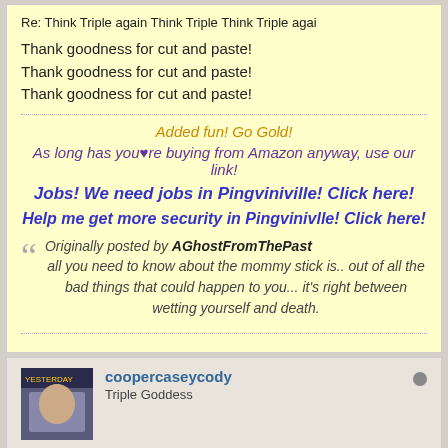Re: Think Triple again Think Triple Think Triple agai
Thank goodness for cut and paste!
Thank goodness for cut and paste!
Thank goodness for cut and paste!
Added fun! Go Gold!
As long has you're buying from Amazon anyway, use our link!
Jobs! We need jobs in Pingviniville! Click here!
Help me get more security in Pingvinivlle! Click here!
Originally posted by AGhostFromThePast
all you need to know about the mommy stick is.. out of all the bad things that could happen to you... it's right between wetting yourself and death.
coopercaseycody
Triple Goddess